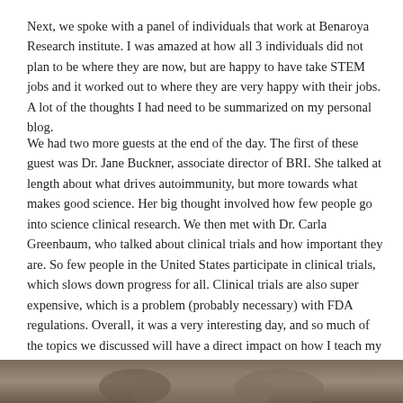Next, we spoke with a panel of individuals that work at Benaroya Research institute.  I was amazed at how all 3 individuals did not plan to be where they are now, but are happy to have take STEM jobs and it worked out to where they are very happy with their jobs.  A lot of the thoughts I had need to be summarized on my personal blog.
We had two more guests at the end of the day.  The first of these guest was Dr. Jane Buckner, associate director of BRI.  She talked at length about what drives autoimmunity, but more towards what makes good science.  Her big thought involved how few people go into science clinical research.  We then met with Dr. Carla Greenbaum, who talked about clinical trials and how important they are.  So few people in the United States participate in clinical trials, which slows down progress for all.  Clinical trials are also super expensive, which is a problem (probably necessary) with FDA regulations.  Overall, it was a very interesting day, and so much of the topics we discussed will have a direct impact on how I teach my students about current research.  I am also planning on bringing in more scientists from the community, so that my students can see different STEM careers in action.
[Figure (photo): Partial photo visible at bottom of page, showing people in a dimly lit setting]